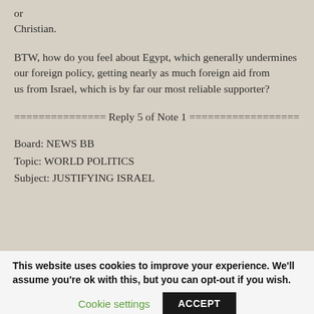or
Christian.
BTW, how do you feel about Egypt, which generally undermines our foreign policy, getting nearly as much foreign aid from us from Israel, which is by far our most reliable supporter?
=============== Reply 5 of Note 1 ==================
Board: NEWS BB
Topic: WORLD POLITICS
Subject: JUSTIFYING ISRAEL
This website uses cookies to improve your experience. We'll assume you're ok with this, but you can opt-out if you wish.
Cookie settings    ACCEPT